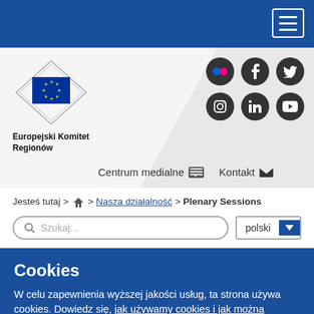[Figure (screenshot): EU/CoR logo with European flag and decorative diamond border]
Europejski Komitet Regionów
[Figure (infographic): Social media icons: Flickr, Facebook, Twitter, Instagram, LinkedIn, YouTube]
Centrum medialne   Kontakt
Jesteś tutaj > 🏠 > Nasza działalność > Plenary Sessions
Szukaj...
polski
Cookies
W celu zapewnienia wyższej jakości usług, ta strona używa cookies. Dowiedz się, jak używamy cookies i jak można zmienić swoje ustawienia.
Akceptuję cookies
Nie akceptuję cookies